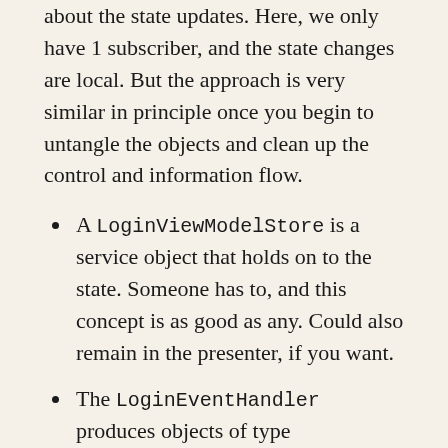about the state updates. Here, we only have 1 subscriber, and the state changes are local. But the approach is very similar in principle once you begin to untangle the objects and clean up the control and information flow.
A LoginViewModelStore is a service object that holds on to the state. Someone has to, and this concept is as good as any. Could also remain in the presenter, if you want.
The LoginEventHandler produces objects of type LoginViewModel.Event and forwards these to the store.
The LoginPresenter is informed by the store about state changes and commands.